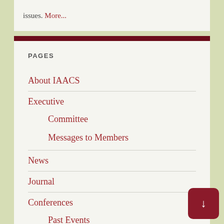issues. More...
PAGES
About IAACS
Executive
Committee
Messages to Members
News
Journal
Conferences
Past Events
Partnerships
Membership